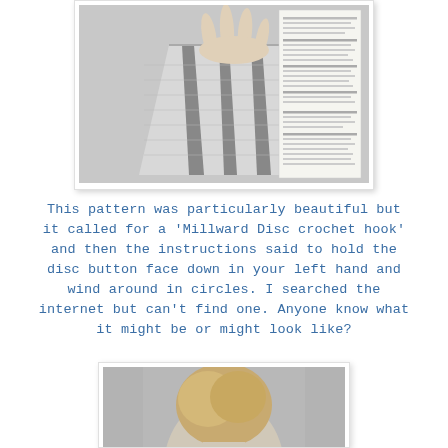[Figure (photo): Black and white photograph of a crocheted bag with vertical stripe pattern, shown with a hand holding it from the top. Next to the bag is a page of printed crochet instructions.]
This pattern was particularly beautiful but it called for a 'Millward Disc crochet hook' and then the instructions said to hold the disc button face down in your left hand and wind around in circles. I searched the internet but can't find one. Anyone know what it might be or might look like?
[Figure (photo): Black and white photograph showing the back of a person's head with short blonde hair, wearing what appears to be a crocheted hat.]